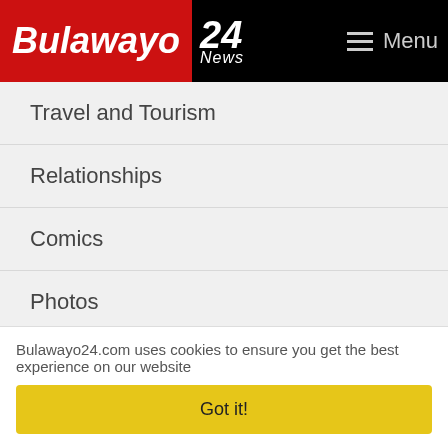Bulawayo 24 News — Menu
Travel and Tourism
Relationships
Comics
Photos
Opinion
Columnist
Interviews
Speeches
Letters
Blogs
Bulawayo24.com uses cookies to ensure you get the best experience on our website
Got it!